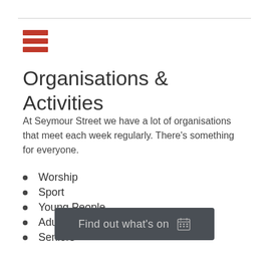[Figure (other): Hamburger menu icon with three red horizontal bars]
Organisations & Activities
At Seymour Street we have a lot of organisations that meet each week regularly. There's something for everyone.
Worship
Sport
Young People
Adults
Seniors
Find out what's on